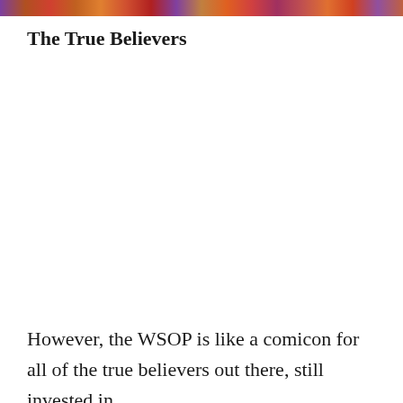[Figure (photo): Colorful horizontal image strip at the top of the page showing people at what appears to be a convention or event, cropped to a thin banner.]
The True Believers
However, the WSOP is like a comicon for all of the true believers out there, still invested in